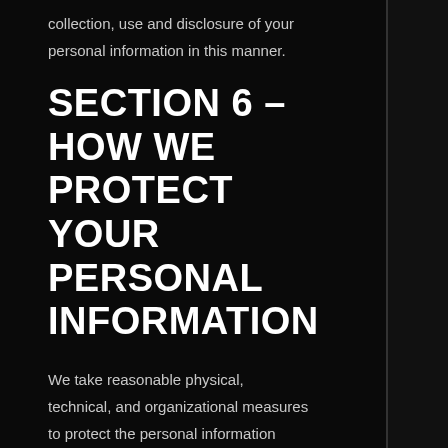collection, use and disclosure of your personal information in this manner.
SECTION 6 – HOW WE PROTECT YOUR PERSONAL INFORMATION
We take reasonable physical, technical, and organizational measures to protect the personal information collected on our websites. Of course, no method of transmission over the Internet or electronic storage is 100% secure. As we deem appropriate, we use security measures